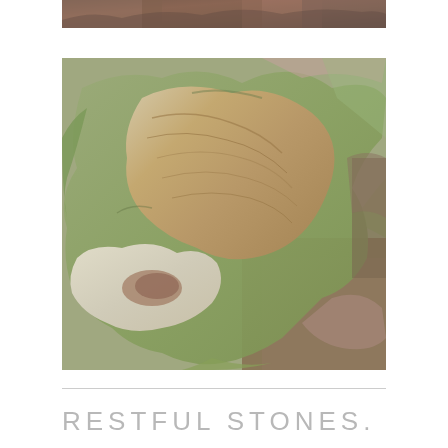[Figure (photo): Close-up photograph of a stone or mineral with green, brown, and pink hues, showing layered rock formations with organic leaf-like shapes]
RESTFUL STONES.